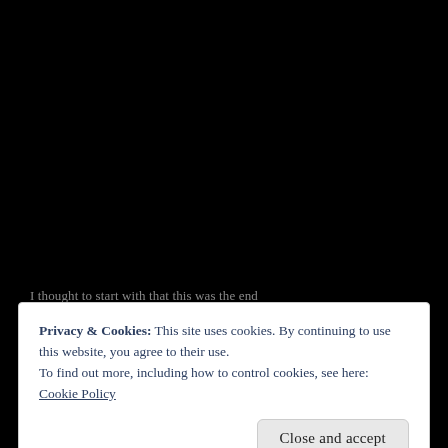[Figure (screenshot): Black background area representing a webpage screenshot behind a cookie consent overlay]
I thought to start with that this was the end
Privacy & Cookies: This site uses cookies. By continuing to use this website, you agree to their use.
To find out more, including how to control cookies, see here:
Cookie Policy
Close and accept